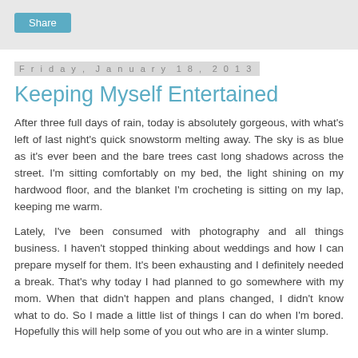[Figure (other): Share button in teal/blue on a light grey top bar]
Friday, January 18, 2013
Keeping Myself Entertained
After three full days of rain, today is absolutely gorgeous, with what's left of last night's quick snowstorm melting away. The sky is as blue as it's ever been and the bare trees cast long shadows across the street. I'm sitting comfortably on my bed, the light shining on my hardwood floor, and the blanket I'm crocheting is sitting on my lap, keeping me warm.
Lately, I've been consumed with photography and all things business. I haven't stopped thinking about weddings and how I can prepare myself for them. It's been exhausting and I definitely needed a break. That's why today I had planned to go somewhere with my mom. When that didn't happen and plans changed, I didn't know what to do. So I made a little list of things I can do when I'm bored. Hopefully this will help some of you out who are in a winter slump.